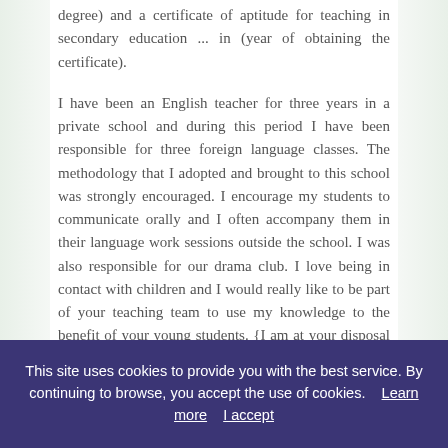degree) and a certificate of aptitude for teaching in secondary education ... in (year of obtaining the certificate).

I have been an English teacher for three years in a private school and during this period I have been responsible for three foreign language classes. The methodology that I adopted and brought to this school was strongly encouraged. I encourage my students to communicate orally and I often accompany them in their language work sessions outside the school. I was also responsible for our drama club. I love being in contact with children and I would really like to be part of your teaching team to use my knowledge to the benefit of your young students. {I am at your disposal for any additional
This site uses cookies to provide you with the best service. By continuing to browse, you accept the use of cookies.    Learn more    I accept